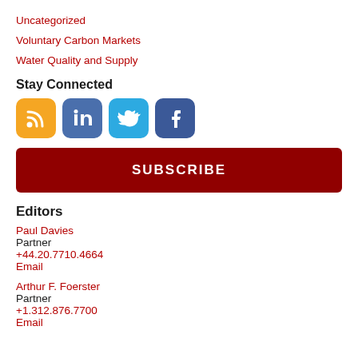Uncategorized
Voluntary Carbon Markets
Water Quality and Supply
Stay Connected
[Figure (illustration): Four social media icon buttons: RSS (orange), LinkedIn (blue), Twitter (light blue), Facebook (dark blue)]
SUBSCRIBE
Editors
Paul Davies
Partner
+44.20.7710.4664
Email
Arthur F. Foerster
Partner
+1.312.876.7700
Email